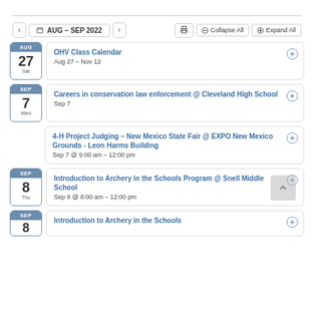AUG – SEP 2022
OHV Class Calendar
Aug 27 – Nov 12
Careers in conservation law enforcement @ Cleveland High School
Sep 7
4-H Project Judging – New Mexico State Fair @ EXPO New Mexico Grounds - Leon Harms Building
Sep 7 @ 9:00 am – 12:00 pm
Introduction to Archery in the Schools Program @ Snell Middle School
Sep 8 @ 8:00 am – 12:00 pm
Introduction to Archery in the Schools